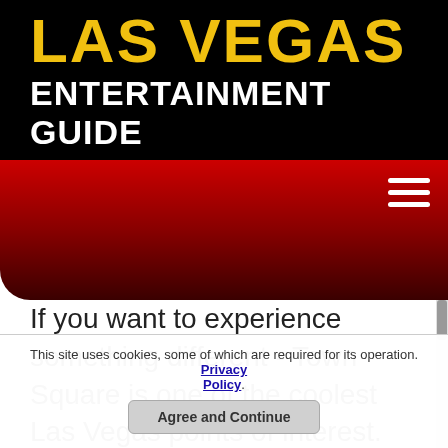LAS VEGAS ENTERTAINMENT GUIDE
[Figure (screenshot): Navigation bar with red gradient background and hamburger menu icon]
If you want to experience something different - Town Square is one of the coolest Las Vegas points of interest. This is not just a shopping mall - it's a complete entertainment complex with restaurants, movie theater and stores that can meet all your needs. Town Square among unique Las Vegas tourist attractions because it's designed as a small picturesque village,
This site uses cookies, some of which are required for its operation. Privacy Policy. Agree and Continue